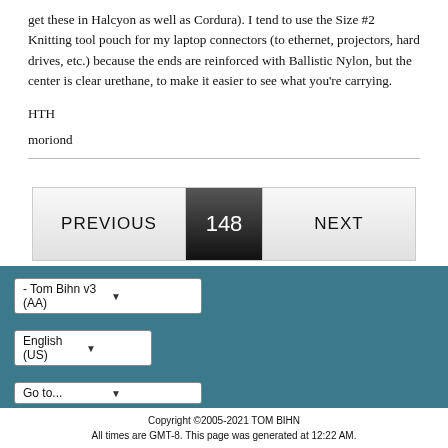get these in Halcyon as well as Cordura). I tend to use the Size #2 Knitting tool pouch for my laptop connectors (to ethernet, projectors, hard drives, etc.) because the ends are reinforced with Ballistic Nylon, but the center is clear urethane, to make it easier to see what you're carrying.
HTH
moriond
[Figure (other): Navigation bar with PREVIOUS, page number 148, and NEXT buttons]
- Tom Bihn v3 (AA) ▼
English (US) ▼
Go to... ▼
Copyright ©2005-2021 TOM BIHN
All times are GMT-8. This page was generated at 12:22 AM.